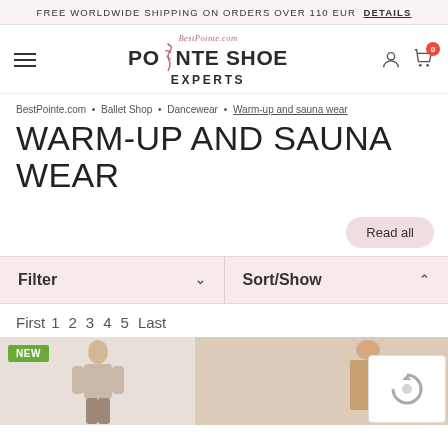FREE WORLDWIDE SHIPPING ON ORDERS OVER 110 EUR DETAILS
[Figure (logo): BestPointe.com Pointe Shoe Experts logo with dancer silhouette and navigation icons including user account and shopping cart with badge showing 0]
BestPointe.com • Ballet Shop • Dancewear • Warm-up and sauna wear
WARM-UP AND SAUNA WEAR
Read all
Filter ∨   Sort/Show ∧
First 1 2 3 4 5 Last
[Figure (photo): Two product photos: left shows a male dancer with NEW badge, right shows a male torso model. CAPTCHA overlay visible bottom right.]